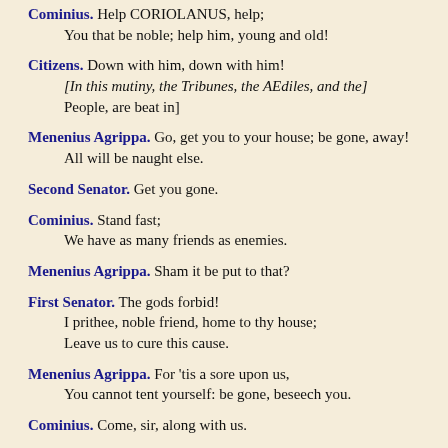Cominius. Help CORIOLANUS, help;
    You that be noble; help him, young and old!
Citizens. Down with him, down with him!
    [In this mutiny, the Tribunes, the AEdiles, and the]
    People, are beat in]
Menenius Agrippa. Go, get you to your house; be gone, away!
    All will be naught else.
Second Senator. Get you gone.
Cominius. Stand fast;
    We have as many friends as enemies.
Menenius Agrippa. Sham it be put to that?
First Senator. The gods forbid!
    I prithee, noble friend, home to thy house;
    Leave us to cure this cause.
Menenius Agrippa. For 'tis a sore upon us,
    You cannot tent yourself: be gone, beseech you.
Cominius. Come, sir, along with us.
Coriolanus. I would they were barbarians—as they are,
    Though in Rome litter'd—not Romans—as they are not,
    Though calved i' the porch o' the Capitol—